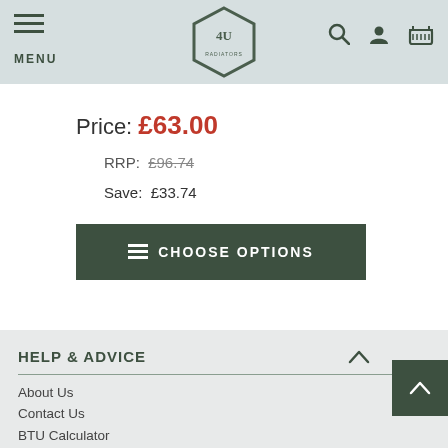MENU — Navigation header with logo and icons
Price: £63.00
RRP: £96.74
Save: £33.74
CHOOSE OPTIONS
HELP & ADVICE
About Us
Contact Us
BTU Calculator
Expert Advice
Customer Gallery
Blog
Infographics